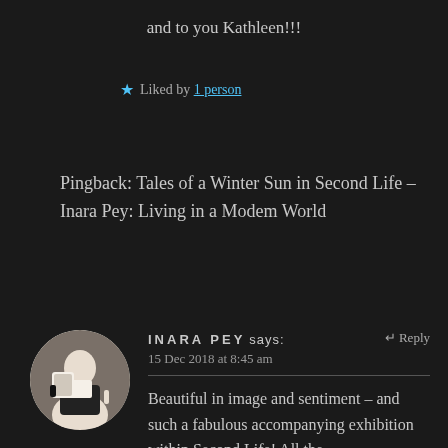and to you Kathleen!!!
★ Liked by 1 person
Pingback: Tales of a Winter Sun in Second Life – Inara Pey: Living in a Modem World
[Figure (photo): Circular avatar of a person in black and white clothing]
INARA PEY says: ↵ Reply
15 Dec 2018 at 8:45 am
Beautiful in image and sentiment – and such a fabulous accompanying exhibition within Second Life! All the